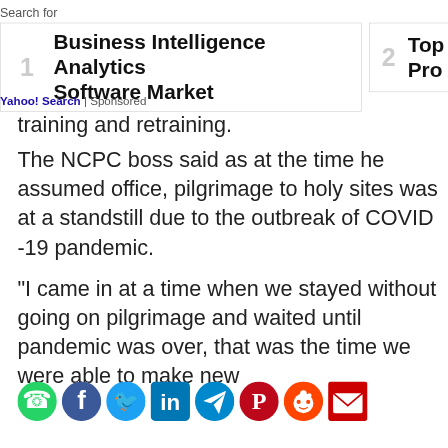Search for
[Figure (screenshot): Search result ad: 1. Business Intelligence Analytics Software Market | 2. Top... Pro...]
Yahoo! Search | Sponsored
training and retraining.
The NCPC boss said as at the time he assumed office, pilgrimage to holy sites was at a standstill due to the outbreak of COVID -19 pandemic.
“I came in at a time when we stayed without going on pilgrimage and waited until pandemic was over, that was the time we were able to make new
[Figure (infographic): Social media sharing icons: WhatsApp, Facebook, Twitter, LinkedIn, Telegram, Pinterest, Reddit, Email]